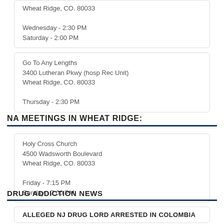Wheat Ridge, CO. 80033

Wednesday - 2:30 PM
Saturday - 2:00 PM
Go To Any Lengths
3400 Lutheran Pkwy (hosp Rec Unit)
Wheat Ridge, CO. 80033

Thursday - 2:30 PM
NA MEETINGS IN WHEAT RIDGE:
Holy Cross Church
4500 Wadsworth Boulevard
Wheat Ridge, CO. 80033

Friday - 7:15 PM
Sunday - 7:00 PM
DRUG ADDICTION NEWS
ALLEGED NJ DRUG LORD ARRESTED IN COLOMBIA